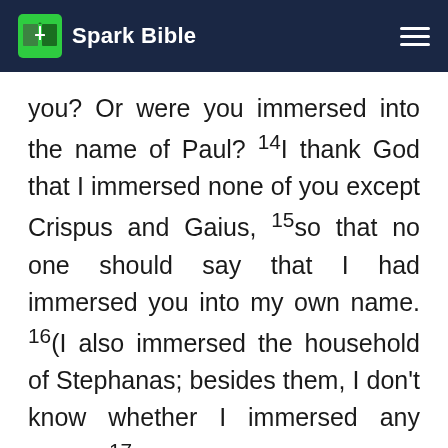Spark Bible
you? Or were you immersed into the name of Paul? 14I thank God that I immersed none of you except Crispus and Gaius, 15so that no one should say that I had immersed you into my own name. 16(I also immersed the household of Stephanas; besides them, I don't know whether I immersed any other.) 17For Messiah sent me not to immerse, but to proclaim the Good News—not in wisdom